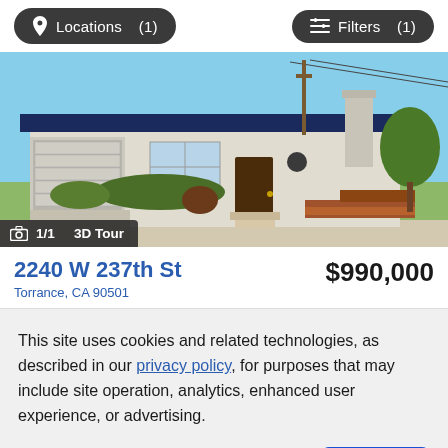Locations (1)   Filters (1)
[Figure (photo): Exterior photo of a single-story ranch house at 2240 W 237th St, Torrance, CA 90501. The house has a beige stucco exterior with a dark blue eave, brick chimney, attached garage on the left, and landscaped front yard with lawn, shrubs, and garden beds.]
1/1   3D Tour
2240 W 237th St   $990,000
Torrance, CA 90501
This site uses cookies and related technologies, as described in our privacy policy, for purposes that may include site operation, analytics, enhanced user experience, or advertising.
Manage Preferences   Accept